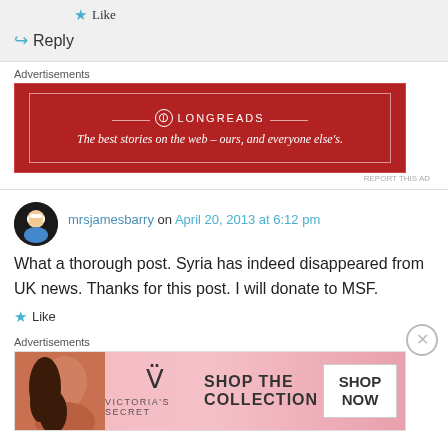★ Like
↪ Reply
Advertisements
[Figure (other): Longreads advertisement banner in dark red with tagline: The best stories on the web – ours, and everyone else's.]
REPORT THIS AD
mrsjamesbarry on April 20, 2013 at 6:12 pm
What a thorough post. Syria has indeed disappeared from UK news. Thanks for this post. I will donate to MSF.
★ Like
Advertisements
[Figure (other): Victoria's Secret advertisement banner with pink background showing Shop The Collection and Shop Now button]